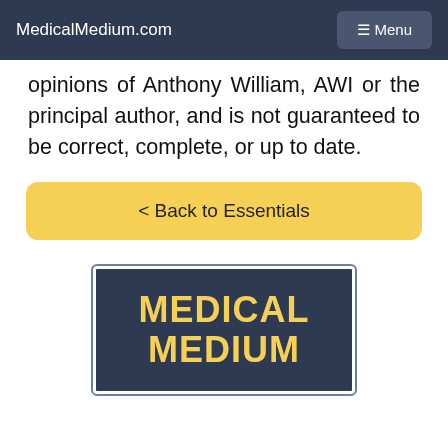MedicalMedium.com   ☰ Menu
opinions of Anthony William, AWI or the principal author, and is not guaranteed to be correct, complete, or up to date.
< Back to Essentials
[Figure (illustration): Medical Medium book cover with dark navy background and yellow title text reading MEDICAL MEDIUM]